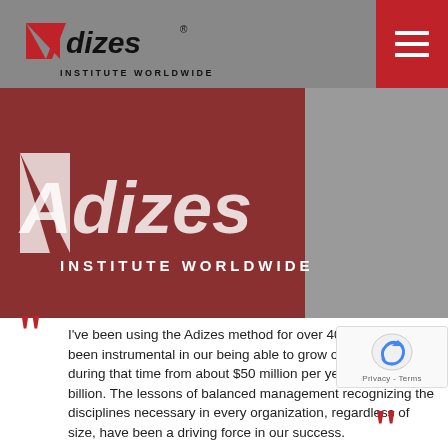[Figure (logo): Adizes Institute Worldwide logo with red arrow and stylized text on grey header bar]
[Figure (photo): Hero image showing Adizes Institute Worldwide red wall signage with large white logo on left panel and person on stairs visible through glass on right grey panel]
I've been using the Adizes method for over 40 years. It has been instrumental in our being able to grow our business during that time from about $50 million per year to over $4 billion. The lessons of balanced management recognizing the disciplines necessary in every organization, regardless of size, have been a driving force in our success.